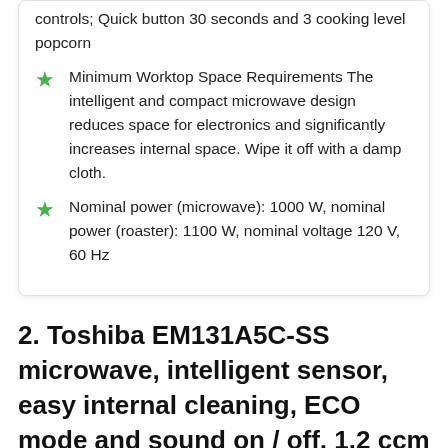controls; Quick button 30 seconds and 3 cooking level popcorn
Minimum Worktop Space Requirements The intelligent and compact microwave design reduces space for electronics and significantly increases internal space. Wipe it off with a damp cloth.
Nominal power (microwave): 1000 W, nominal power (roaster): 1100 W, nominal voltage 120 V, 60 Hz
2. Toshiba EM131A5C-SS microwave, intelligent sensor, easy internal cleaning, ECO mode and sound on / off, 1.2 ccm Ft, stainless steel – Inexpensive Budget Pick in USA